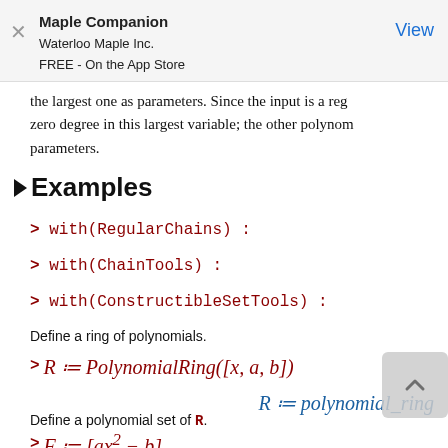Maple Companion
Waterloo Maple Inc.
FREE - On the App Store
View
the largest one as parameters. Since the input is a reg zero degree in this largest variable; the other polynom parameters.
Examples
> with(RegularChains) :
> with(ChainTools) :
> with(ConstructibleSetTools) :
Define a ring of polynomials.
Define a polynomial set of R.